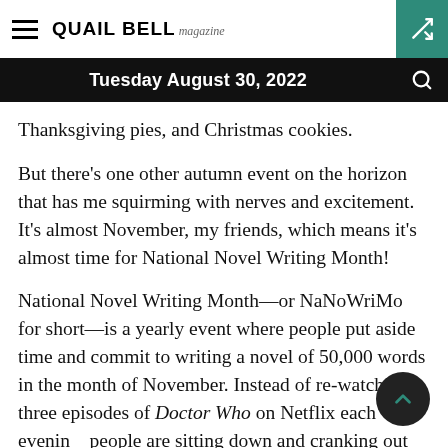QUAIL BELL magazine
Tuesday August 30, 2022
Thanksgiving pies, and Christmas cookies.
But there’s one other autumn event on the horizon that has me squirming with nerves and excitement. It’s almost November, my friends, which means it’s almost time for National Novel Writing Month!
National Novel Writing Month—or NaNoWriMo for short—is a yearly event where people put aside time and commit to writing a novel of 50,000 words in the month of November. Instead of re-watching three episodes of Doctor Who on Netflix each evening, people are sitting down and cranking out 1,667